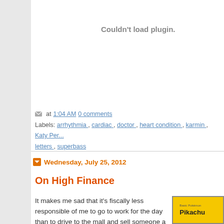Couldn't load plugin.
at 1:04 AM 0 comments
Labels: arrhythmia , cardiac , doctor , heart condition , karmin , Katy Per... letters , superbass
Wednesday, July 25, 2012
On High Finance
It makes me sad that it's fiscally less responsible of me to go to work for the day than to drive to the mall and sell someone a binder full of early Pokémon cards.
[Figure (photo): Pokemon card image showing Pikachu]